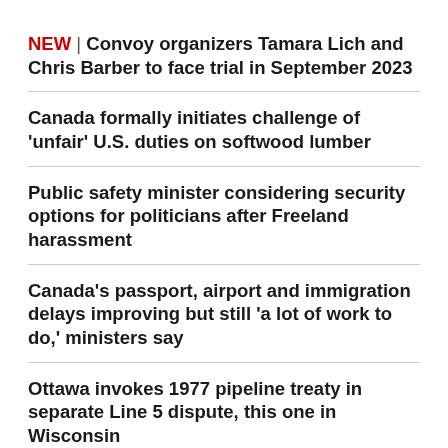NEW | Convoy organizers Tamara Lich and Chris Barber to face trial in September 2023
Canada formally initiates challenge of 'unfair' U.S. duties on softwood lumber
Public safety minister considering security options for politicians after Freeland harassment
Canada's passport, airport and immigration delays improving but still 'a lot of work to do,' ministers say
Ottawa invokes 1977 pipeline treaty in separate Line 5 dispute, this one in Wisconsin